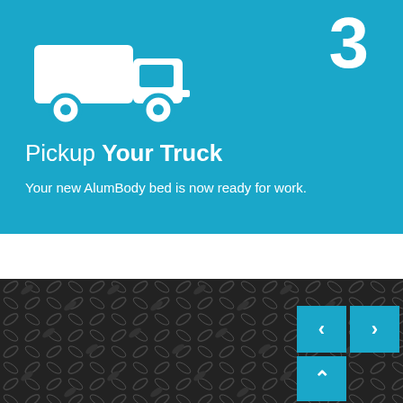[Figure (illustration): White truck/delivery vehicle icon on blue background with large number 3 in top right]
Pickup Your Truck
Your new AlumBody bed is now ready for work.
Our Bed Features
[Figure (illustration): Navigation arrows: left arrow button, right arrow button, and up arrow button on cyan/teal background, overlaid on diamond plate metal texture background]